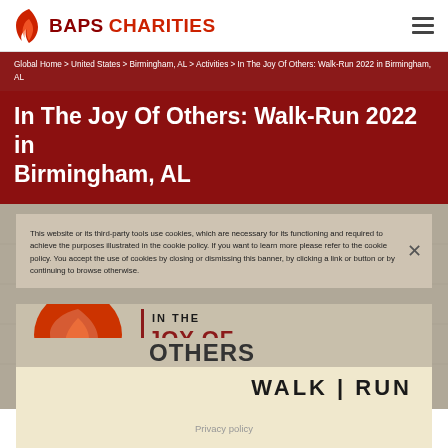BAPS CHARITIES
Global Home > United States > Birmingham, AL > Activities > In The Joy Of Others: Walk-Run 2022 in Birmingham, AL
In The Joy Of Others: Walk-Run 2022 in Birmingham, AL
This website or its third-party tools use cookies, which are necessary for its functioning and required to achieve the purposes illustrated in the cookie policy. If you want to learn more please refer to the cookie policy. You accept the use of cookies by closing or dismissing this banner, by clicking a link or button or by continuing to browse otherwise.
[Figure (logo): In The Joy Of Others Walk | Run event logo with flame symbol on red circle and bold text]
Privacy policy